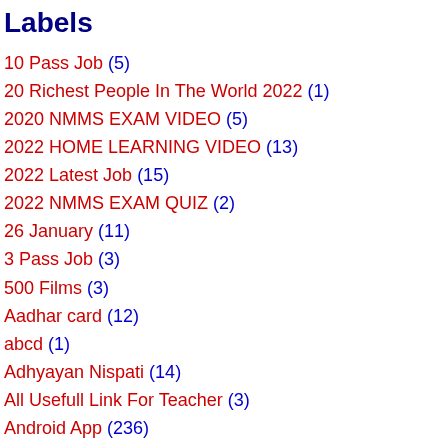Labels
10 Pass Job (5)
20 Richest People In The World 2022 (1)
2020 NMMS EXAM VIDEO (5)
2022 HOME LEARNING VIDEO (13)
2022 Latest Job (15)
2022 NMMS EXAM QUIZ (2)
26 January (11)
3 Pass Job (3)
500 Films (3)
Aadhar card (12)
abcd (1)
Adhyayan Nispati (14)
All Usefull Link For Teacher (3)
Android App (236)
Answer Key (2)
APMC (1)
App Review (8)